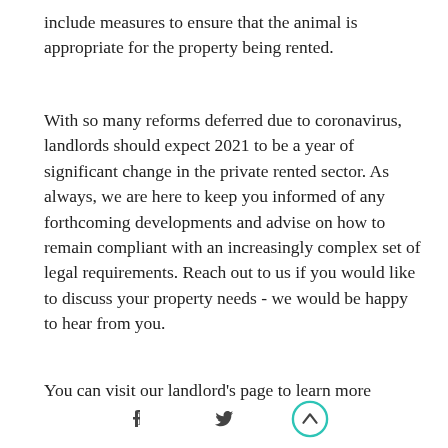include measures to ensure that the animal is appropriate for the property being rented.
With so many reforms deferred due to coronavirus, landlords should expect 2021 to be a year of significant change in the private rented sector. As always, we are here to keep you informed of any forthcoming developments and advise on how to remain compliant with an increasingly complex set of legal requirements. Reach out to us if you would like to discuss your property needs - we would be happy to hear from you.
You can visit our landlord’s page to learn more
[Figure (other): Social media icons: Facebook, Twitter, and a scroll-to-top button with upward arrow inside a teal circle]